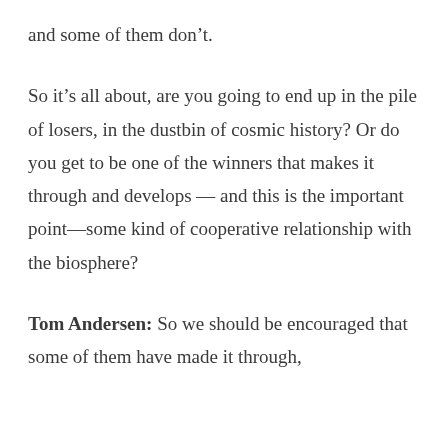and some of them don't.
So it's all about, are you going to end up in the pile of losers, in the dustbin of cosmic history? Or do you get to be one of the winners that makes it through and develops — and this is the important point—some kind of cooperative relationship with the biosphere?
Tom Andersen: So we should be encouraged that some of them have made it through,